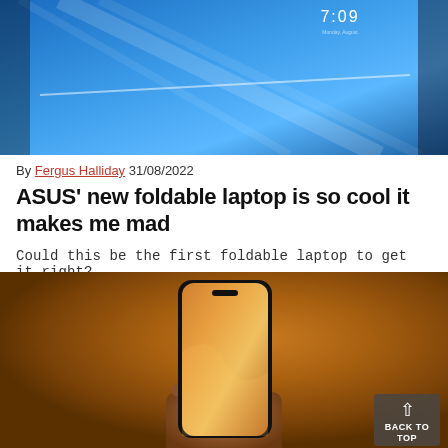[Figure (photo): Photo of an ASUS foldable laptop with a blue screen showing 7:09 time display, the device partially folded, placed on a surface]
By Fergus Halliday 31/08/2022
ASUS' new foldable laptop is so cool it makes me mad
Could this be the first foldable laptop to get it right?
[Figure (photo): Hand holding an iPhone against an orange background, the phone screen showing an orange wallpaper with a subtle wave design. A 'BACK TO TOP' button overlays the bottom right corner.]